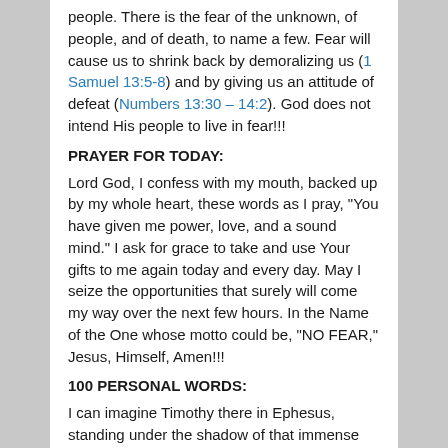people. There is the fear of the unknown, of people, and of death, to name a few. Fear will cause us to shrink back by demoralizing us (1 Samuel 13:5-8) and by giving us an attitude of defeat (Numbers 13:30 – 14:2). God does not intend His people to live in fear!!!
PRAYER FOR TODAY:
Lord God, I confess with my mouth, backed up by my whole heart, these words as I pray, "You have given me power, love, and a sound mind." I ask for grace to take and use Your gifts to me again today and every day. May I seize the opportunities that surely will come my way over the next few hours. In the Name of the One whose motto could be, "NO FEAR," Jesus, Himself, Amen!!!
100 PERSONAL WORDS:
I can imagine Timothy there in Ephesus, standing under the shadow of that immense Temple of Diana, one of the Seven Ancient Wonders of the World, attempting to speak about Jesus with those who were entering or exiting the